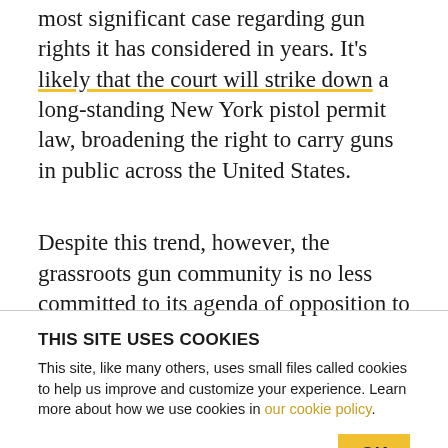most significant case regarding gun rights it has considered in years. It's likely that the court will strike down a long-standing New York pistol permit law, broadening the right to carry guns in public across the United States.
Despite this trend, however, the grassroots gun community is no less committed to its agenda of opposition to new gun laws. Indeed, the Pew
THIS SITE USES COOKIES
This site, like many others, uses small files called cookies to help us improve and customize your experience. Learn more about how we use cookies in our cookie policy.
Learn more about cookies   OK